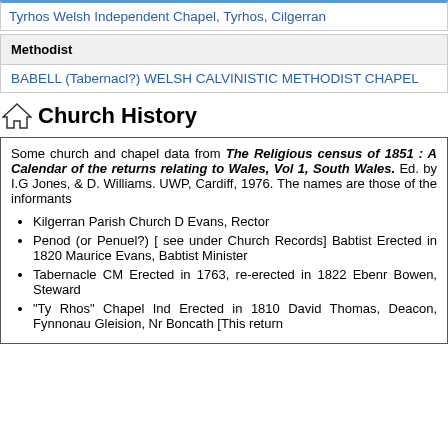Tyrhos Welsh Independent Chapel, Tyrhos, Cilgerran
Methodist
BABELL (Tabernacl?) WELSH CALVINISTIC METHODIST CHAPEL
Church History
Some church and chapel data from The Religious census of 1851 : A Calendar of the returns relating to Wales, Vol 1, South Wales. Ed. by I.G Jones, & D. Williams. UWP, Cardiff, 1976. The names are those of the informants
Kilgerran Parish Church D Evans, Rector
Penod (or Penuel?) [ see under Church Records] Babtist Erected in 1820 Maurice Evans, Babtist Minister
Tabernacle CM Erected in 1763, re-erected in 1822 Ebenr Bowen, Steward
"Ty Rhos" Chapel Ind Erected in 1810 David Thomas, Deacon, Fynnonau Gleision, Nr Boncath [This return